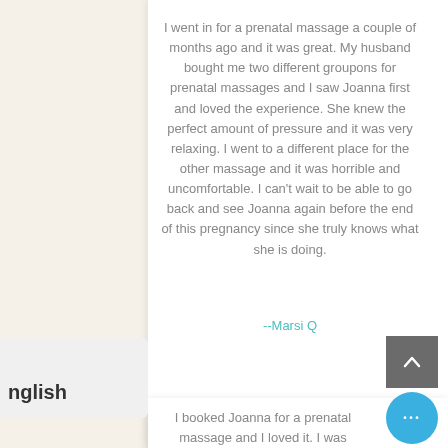I went in for a prenatal massage a couple of months ago and it was great. My husband bought me two different groupons for prenatal massages and I saw Joanna first and loved the experience. She knew the perfect amount of pressure and it was very relaxing. I went to a different place for the other massage and it was horrible and uncomfortable. I can't wait to be able to go back and see Joanna again before the end of this pregnancy since she truly knows what she is doing.
--Marsi Q
I booked Joanna for a prenatal massage and I loved it. I was experiencing headaches and lower
nglish